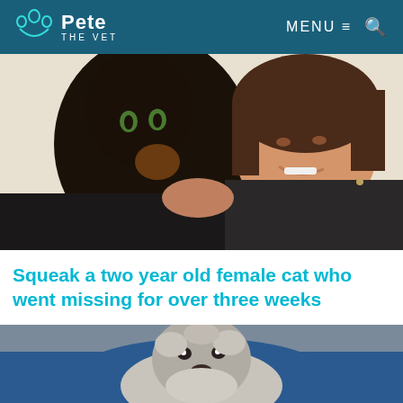Pete THE VET | MENU ≡ 🔍
[Figure (photo): A woman smiling and holding a dark tortoiseshell/black cat with green eyes close to her face. Both are looking toward the camera. The woman is wearing a black jacket.]
Squeak a two year old female cat who went missing for over three weeks
[Figure (photo): A person in a blue shirt holding a small grey/white Shih Tzu dog. The dog is facing the camera with a neutral expression.]